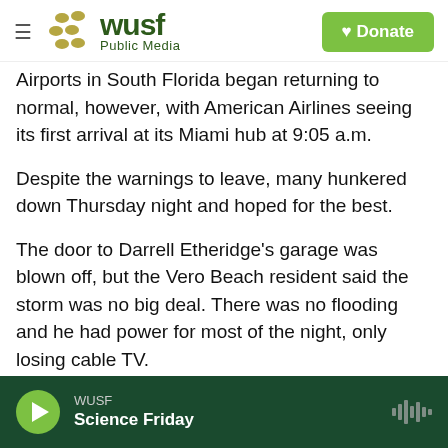WUSF Public Media — Donate
Airports in South Florida began returning to normal, however, with American Airlines seeing its first arrival at its Miami hub at 9:05 a.m.
Despite the warnings to leave, many hunkered down Thursday night and hoped for the best.
The door to Darrell Etheridge's garage was blown off, but the Vero Beach resident said the storm was no big deal. There was no flooding and he had power for most of the night, only losing cable TV.
While the wind's howling "sounded like a pack of wolves," he said, "I got off damn good."
WUSF — Science Friday